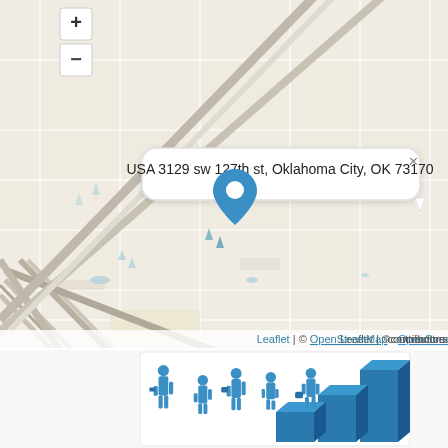[Figure (map): OpenStreetMap/Leaflet map showing location pin at USA 3129 sw 127th st, Oklahoma City, OK 73170. Map shows suburban street grid with zoom controls (+/-) in top left. A white popup tooltip displays the address. Blue location marker pin centered on the map. Bottom right attribution: Leaflet | © OpenStreetMap contributors.]
[Figure (illustration): 3D illustration of blue business figures (people) in various poses with briefcases, alongside blue 3D bar chart blocks, representing business or workforce concept.]